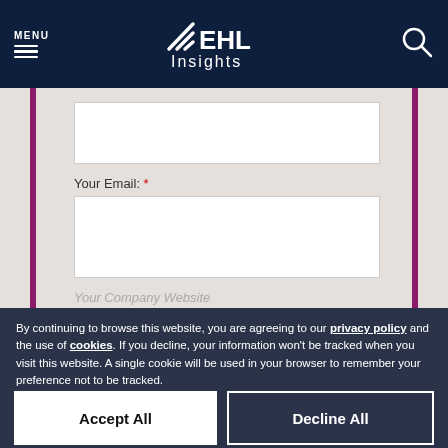MENU | EHL Insights
[Figure (screenshot): Web form with input fields for email and company website, with purple accent bars on left and right]
Your Email: *
Your Company Website
By continuing to browse this website, you are agreeing to our privacy policy and the use of cookies. If you decline, your information won't be tracked when you visit this website. A single cookie will be used in your browser to remember your preference not to be tracked.
Manage Cookies
Accept All
Decline All